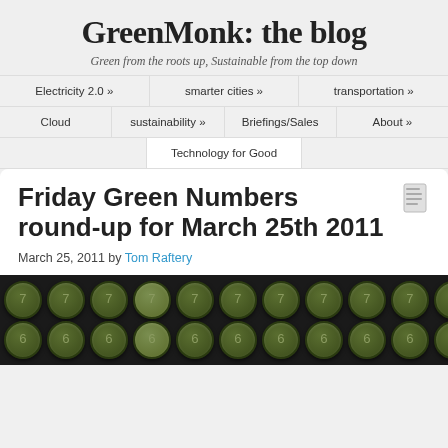GreenMonk: the blog
Green from the roots up, Sustainable from the top down
Electricity 2.0 » | smarter cities » | transportation » | Cloud | sustainability » | Briefings/Sales | About » | Technology for Good
Friday Green Numbers round-up for March 25th 2011
March 25, 2011 by Tom Raftery
[Figure (photo): Close-up of typewriter keys showing green circular keys with numbers 6 and 7 on a dark background]